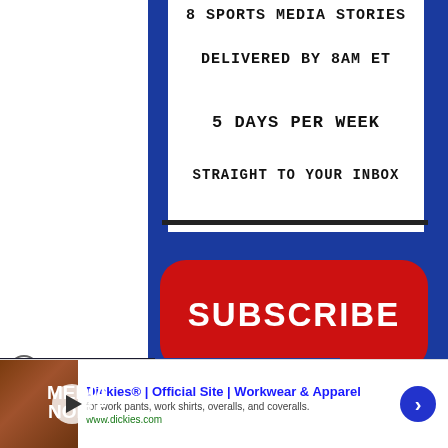[Figure (screenshot): Promotional image with dark blue background panel and white inner card showing text: '8 SPORTS MEDIA STORIES DELIVERED BY 8AM ET 5 DAYS PER WEEK STRAIGHT TO YOUR INBOX', with a red rounded Subscribe button below, a dark separator line between them, and a podcast episode thumbnail overlay at the bottom left showing 'BSM Media Noise' with episode 88 info 'CAN BIG NOON KICKOFF TAKE DOWN COLLEGE GAMEDAY?'. An ad banner for Dickies at the bottom of the page.]
8 SPORTS MEDIA STORIES DELIVERED BY 8AM ET 5 DAYS PER WEEK STRAIGHT TO YOUR INBOX
SUBSCRIBE
BSM EPISODE 88 CAN BIG NOON KICKOFF TAKE DOWN COLLEGE GAMEDAY?
MEDIA NOISE
Dickies® | Official Site | Workwear & Apparel
for work pants, work shirts, overalls, and coveralls.
www.dickies.com